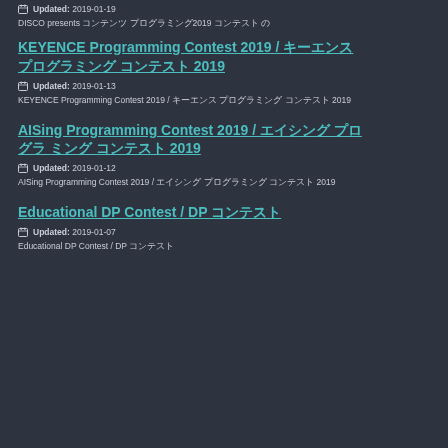DISCO presents コンテンツ プログラミング2019 コンテスト の
KEYENCE Programming Contest 2019 / キーエンス プログラミング コンテスト 2019
Updated: 2019-01-13
KEYENCE Programming Contest 2019 / キーエンス プログラミング コンテスト 2019
AISing Programming Contest 2019 / エイシング プログラ ミング コンテスト 2019
Updated: 2019-01-12
AISing Programming Contest 2019 / エイシング プログラミング コンテスト 2019
Educational DP Contest / DP コンテスト
Updated: 2019-01-07
Educational DP Contest / DP コンテスト